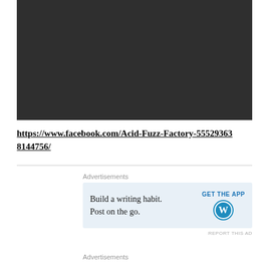[Figure (screenshot): Dark gray/black rectangle representing a video or embedded media player with no visible content]
https://www.facebook.com/Acid-Fuzz-Factory-555293638144756/
Advertisements
[Figure (screenshot): Advertisement banner with light blue background reading 'Build a writing habit. Post on the go.' with GET THE APP button and WordPress logo]
REPORT THIS AD
Advertisements